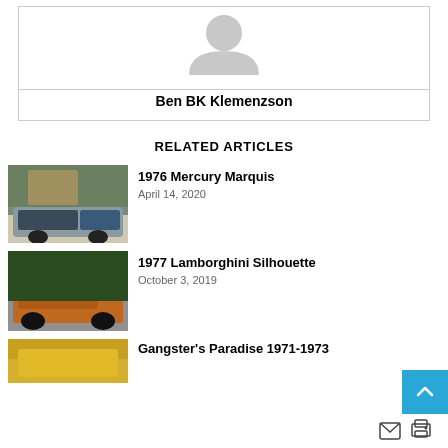[Figure (illustration): Generic profile avatar icon (arch/person silhouette in gray)]
Ben BK Klemenzson
RELATED ARTICLES
[Figure (photo): 1976 Mercury Marquis - blue classic car parked in front of a stone building]
1976 Mercury Marquis
April 14, 2020
[Figure (photo): 1977 Lamborghini Silhouette - orange/bronze sports car on a road with trees]
1977 Lamborghini Silhouette
October 3, 2019
[Figure (photo): Gangster's Paradise 1971-1973 - partial view, yellow/gold colored car]
Gangster's Paradise 1971-1973